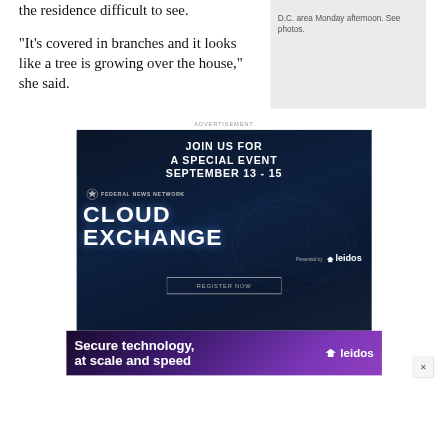the residence difficult to see.
D.C. area Monday afternoon. See photos.
“It’s covered in branches and it looks like a tree is growing over the house,” she said.
ADVERTISEMENT
[Figure (other): Advertisement for Federal News Network Cloud Exchange special event September 13-15, presented by Leidos. Dark blue background with cloud graphic and large white bold text.]
[Figure (other): Banner advertisement for Leidos: 'Secure technology, at scale and speed' with Leidos logo on purple gradient background.]